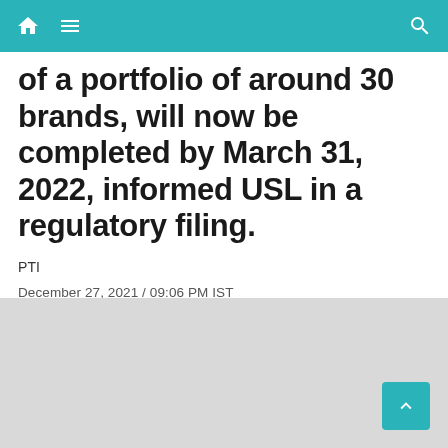Navigation bar with home, menu, and search icons
of a portfolio of around 30 brands, will now be completed by March 31, 2022, informed USL in a regulatory filing.
PTI
December 27, 2021 / 09:06 PM IST
[Figure (photo): Gray placeholder image area below the article metadata]